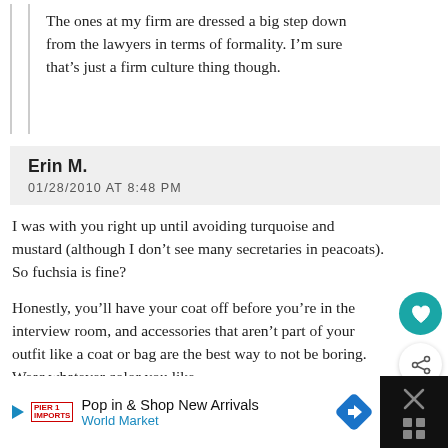The ones at my firm are dressed a big step down from the lawyers in terms of formality. I’m sure that’s just a firm culture thing though.
Erin M.
01/28/2010 AT 8:48 PM
I was with you right up until avoiding turquoise and mustard (although I don’t see many secretaries in peacoats). So fuchsia is fine?
Honestly, you’ll have your coat off before you’re in the interview room, and accessories that aren’t part of your outfit like a coat or bag are the best way to not be boring. Wear whatever color you like.
Scarlet
07/04/2014 AT 6:31 PM
Pop in & Shop New Arrivals
World Market